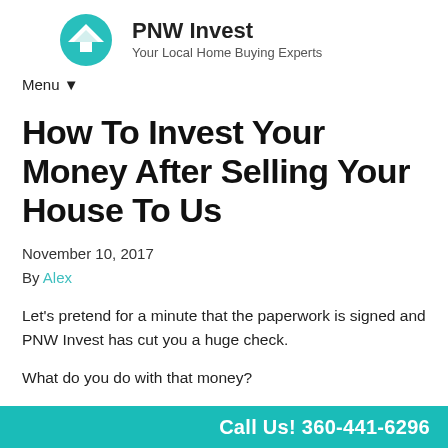PNW Invest — Your Local Home Buying Experts
Menu ▼
How To Invest Your Money After Selling Your House To Us
November 10, 2017
By Alex
Let's pretend for a minute that the paperwork is signed and PNW Invest has cut you a huge check.
What do you do with that money?
Call Us! 360-441-6296